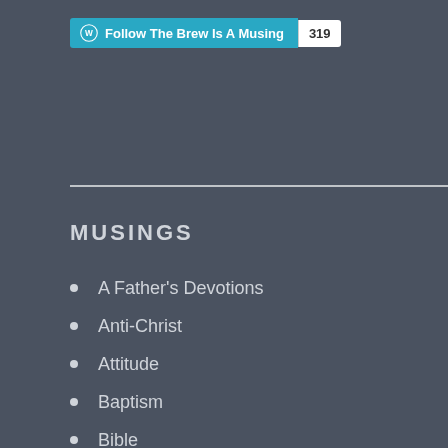[Figure (other): WordPress Follow button showing 'Follow The Brew Is A Musing' with follower count 319]
MUSINGS
A Father's Devotions
Anti-Christ
Attitude
Baptism
Bible
Boasting
Brotherly Love
Character
Christ
Christmas